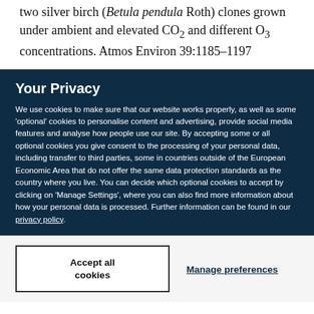two silver birch (Betula pendula Roth) clones grown under ambient and elevated CO2 and different O3 concentrations. Atmos Environ 39:1185–1197
Your Privacy
We use cookies to make sure that our website works properly, as well as some 'optional' cookies to personalise content and advertising, provide social media features and analyse how people use our site. By accepting some or all optional cookies you give consent to the processing of your personal data, including transfer to third parties, some in countries outside of the European Economic Area that do not offer the same data protection standards as the country where you live. You can decide which optional cookies to accept by clicking on 'Manage Settings', where you can also find more information about how your personal data is processed. Further information can be found in our privacy policy.
Accept all cookies
Manage preferences